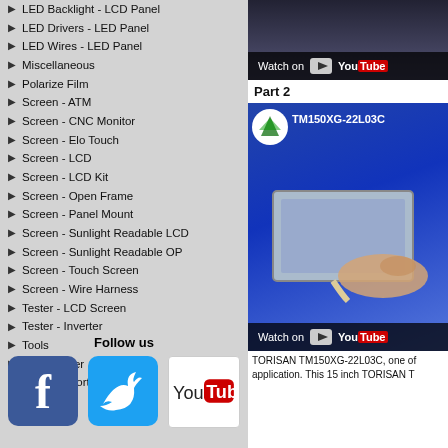LED Backlight - LCD Panel
LED Drivers - LED Panel
LED Wires - LED Panel
Miscellaneous
Polarize Film
Screen - ATM
Screen - CNC Monitor
Screen - Elo Touch
Screen - LCD
Screen - LCD Kit
Screen - Open Frame
Screen - Panel Mount
Screen - Sunlight Readable LCD
Screen - Sunlight Readable OP
Screen - Touch Screen
Screen - Wire Harness
Tester - LCD Screen
Tester - Inverter
Tools
Transformer
Tech Support
Follow us
[Figure (screenshot): YouTube video thumbnail with Watch on YouTube bar]
Part 2
[Figure (screenshot): YouTube video of TM150XG-22L03C LCD panel demonstration with Watch on YouTube bar]
TORISAN TM150XG-22L03C, one of application. This 15 inch TORISAN T